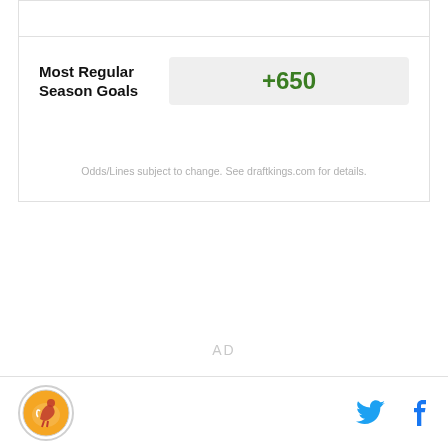| Bet | Odds |
| --- | --- |
| Most Regular Season Goals | +650 |
Odds/Lines subject to change. See draftkings.com for details.
AD
[Figure (logo): Sports team logo in orange circle with horse/rider illustration]